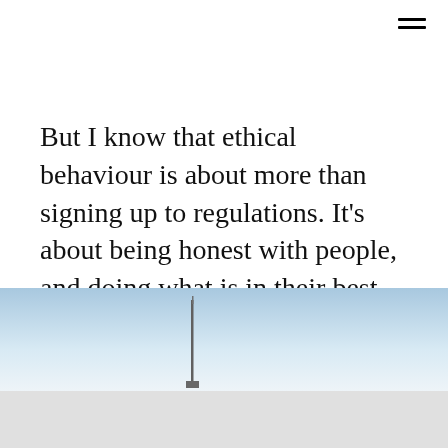But I know that ethical behaviour is about more than signing up to regulations. It's about being honest with people, and doing what is in their best interest. That's why I'll always be clear about what I can do for you and how much it'll cost. And that's why I'll never accept a job if I don't think you need my help.
[Figure (photo): A minimalist photo of a tall communications tower or antenna against a pale blue-to-white gradient sky, with a light grey ground or snow at the bottom.]